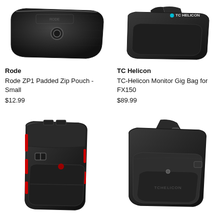[Figure (photo): Rode ZP1 black padded zip pouch, small size, leather-look material with embossed logo and circular clasp]
[Figure (photo): TC-Helicon monitor gig bag for FX150, black messenger-style bag with TC Helicon logo and teal dot]
Rode
Rode ZP1 Padded Zip Pouch - Small
$12.99
TC Helicon
TC-Helicon Monitor Gig Bag for FX150
$89.99
[Figure (photo): Black camera/equipment backpack with red zipper accents and buckle straps]
[Figure (photo): TC-Helicon black shoulder sling bag with grey fabric panel and TC Helicon logo]